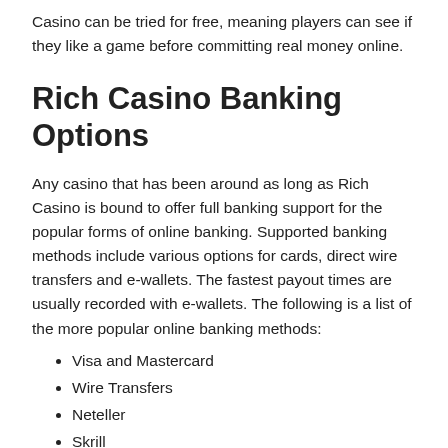Casino can be tried for free, meaning players can see if they like a game before committing real money online.
Rich Casino Banking Options
Any casino that has been around as long as Rich Casino is bound to offer full banking support for the popular forms of online banking. Supported banking methods include various options for cards, direct wire transfers and e-wallets. The fastest payout times are usually recorded with e-wallets. The following is a list of the more popular online banking methods:
Visa and Mastercard
Wire Transfers
Neteller
Skrill
Qiwi
EcoPayz
WebMoney